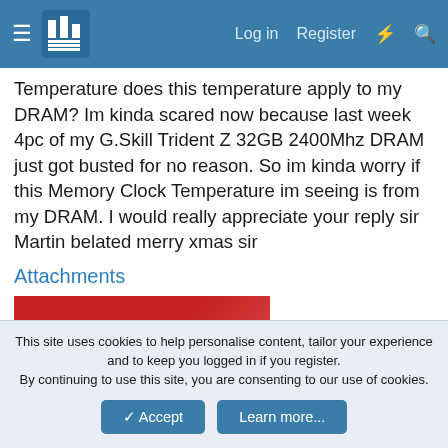Log in  Register
Temperature does this temperature apply to my DRAM? Im kinda scared now because last week 4pc of my G.Skill Trident Z 32GB 2400Mhz DRAM just got busted for no reason. So im kinda worry if this Memory Clock Temperature im seeing is from my DRAM. I would really appreciate your reply sir Martin belated merry xmas sir
Attachments
[Figure (photo): Blurred close-up photo of a G.Skill Trident Z DRAM memory module, showing a red heatspreader at the top and a label below]
This site uses cookies to help personalise content, tailor your experience and to keep you logged in if you register.
By continuing to use this site, you are consenting to our use of cookies.